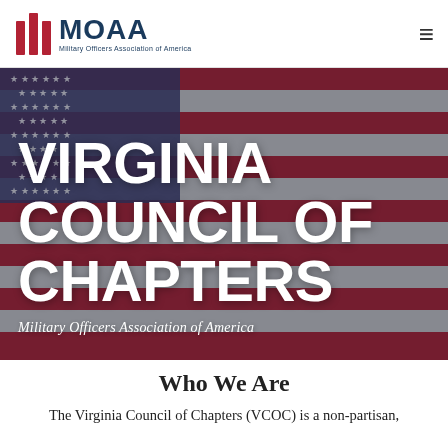[Figure (logo): MOAA (Military Officers Association of America) logo with red vertical bars and dark blue text]
[Figure (photo): American flag background hero image with overlaid white bold text reading VIRGINIA COUNCIL OF CHAPTERS and subtitle Military Officers Association of America]
VIRGINIA COUNCIL OF CHAPTERS
Military Officers Association of America
Who We Are
The Virginia Council of Chapters (VCOC) is a non-partisan,